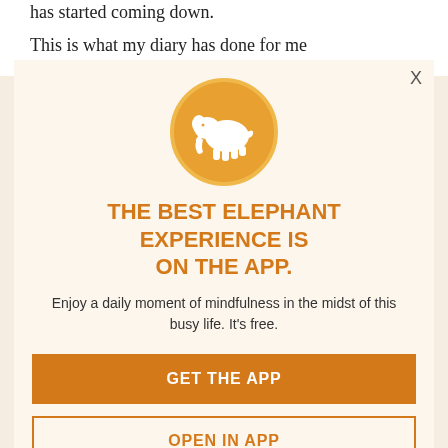has started coming down.
This is what my diary has done for me
It's aided my journey to recovery and better health
Writing in diaries boosts creativity
It's good for the simple monks. (Writers with writer's block, what do you say? Maybe come up with a diary.) The boost may actually help us get ideas to beat our barriers and to
THE BEST ELEPHANT EXPERIENCE IS ON THE APP.
Enjoy a daily moment of mindfulness in the midst of this busy life. It's free.
GET THE APP
OPEN IN APP